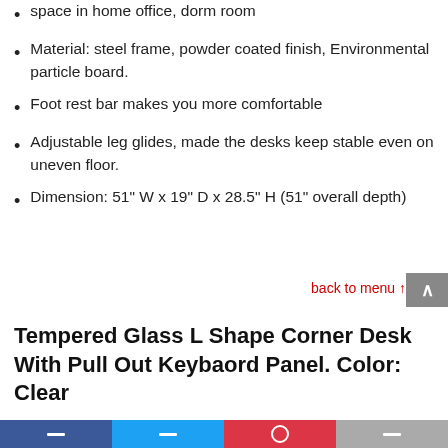space in home office, dorm room
Material: steel frame, powder coated finish, Environmental particle board.
Foot rest bar makes you more comfortable
Adjustable leg glides, made the desks keep stable even on uneven floor.
Dimension: 51" W x 19" D x 28.5" H (51" overall depth)
back to menu ↑
Tempered Glass L Shape Corner Desk With Pull Out Keybaord Panel. Color: Clear